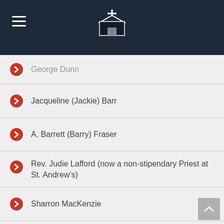Church website header with navigation menu and church logo
George Dunn
Jacqueline (Jackie) Barr
A. Barrett (Barry) Fraser
Rev. Judie Lafford (now a non-stipendary Priest at St. Andrew's)
Sharron MacKenzie
Donna Ruggles
Rev. David Dellapinna (now a Priest in the Diocese)
Virginia (Jinny) Giza
Wendy Wells